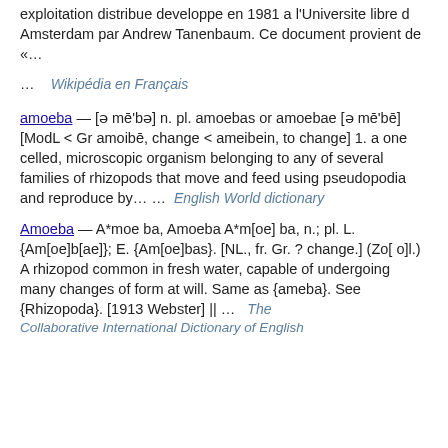exploitation distribue developpe en 1981 a l'Universite libre d Amsterdam par Andrew Tanenbaum. Ce document provient de «…
… Wikipédia en Français
amoeba — [ə mē'bə] n. pl. amoebas or amoebae [ə mē'bē] [ModL < Gr amoibē, change < ameibein, to change] 1. a one celled, microscopic organism belonging to any of several families of rhizopods that move and feed using pseudopodia and reproduce by… … English World dictionary
Amoeba — A*moe ba, Amoeba A*m[oe] ba, n.; pl. L. {Am[oe]b[ae]}; E. {Am[oe]bas}. [NL., fr. Gr. ? change.] (Zo[ o]l.) A rhizopod common in fresh water, capable of undergoing many changes of form at will. Same as {ameba}. See {Rhizopoda}. [1913 Webster] || … The Collaborative International Dictionary of English